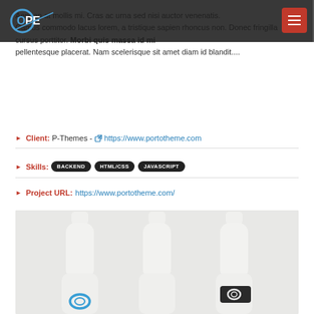OPE logo and navigation header
Aenean at mollis mi. Cras ac urna sed nisi auctor venenatis. Camus commodo lacus lorem, a tristique sapien rhoncus non. Donec fringilla cursus porttitor. Morbi quis massa id mi pellentesque placerat. Nam scelerisque sit amet diam id blandit....
Client: P-Themes - https://www.portotheme.com
Skills: BACKEND HTML/CSS JAVASCRIPT
Project URL: https://www.portotheme.com/
[Figure (photo): Three white product bottles/containers with branded logos, displayed on a light gray background]